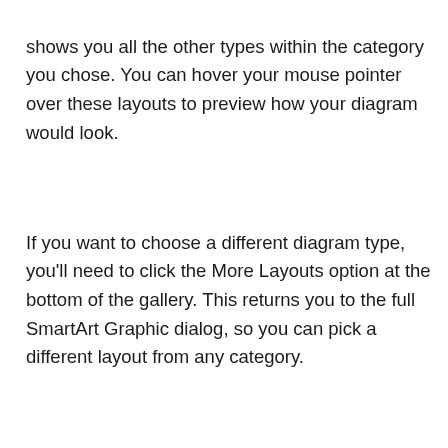shows you all the other types within the category you chose. You can hover your mouse pointer over these layouts to preview how your diagram would look.
If you want to choose a different diagram type, you'll need to click the More Layouts option at the bottom of the gallery. This returns you to the full SmartArt Graphic dialog, so you can pick a different layout from any category.